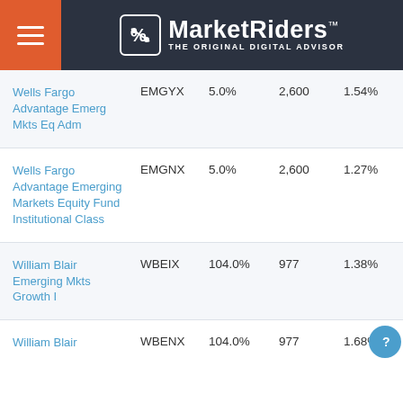MarketRiders — THE ORIGINAL DIGITAL ADVISOR
| Fund Name | Ticker | Load | Min | Expense |
| --- | --- | --- | --- | --- |
| Wells Fargo Advantage Emerg Mkts Eq Adm | EMGYX | 5.0% | 2,600 | 1.54% |
| Wells Fargo Advantage Emerging Markets Equity Fund Institutional Class | EMGNX | 5.0% | 2,600 | 1.27% |
| William Blair Emerging Mkts Growth I | WBEIX | 104.0% | 977 | 1.38% |
| William Blair | WBENX | 104.0% | 977 | 1.68% |